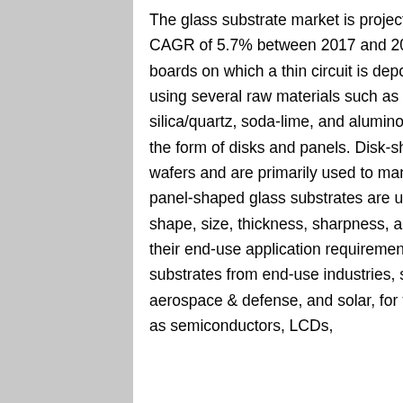The glass substrate market is projected to reach USD 1.97 billion by 2022, at a CAGR of 5.7% between 2017 and 2022. Glass substrates are thin, flat glass boards on which a thin circuit is deposited with precision. They are produced using several raw materials such as borosilicate, silicon, ceramic, fused silica/quartz, soda-lime, and aluminosilicate. Glass substrates are available in the form of disks and panels. Disk-shaped glass substrates are known as wafers and are primarily used to manufacture semiconductors, whereas, panel-shaped glass substrates are used in the manufacturing of LCDs. The shape, size, thickness, sharpness, and flexibility of glass substrates depend on their end-use application requirements. The increasing demand for glass substrates from end-use industries, such as electronics, automotive, medical, aerospace & defense, and solar, for the manufacturing of end-products, such as semiconductors, LCDs,